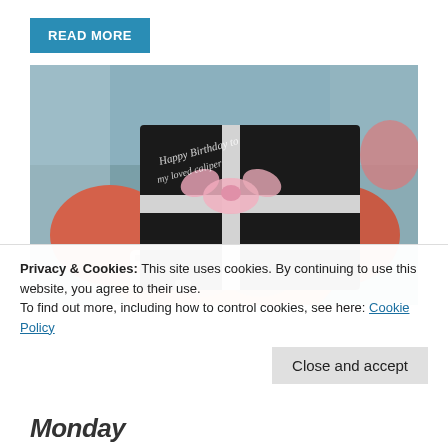READ MORE
[Figure (photo): Person holding a black gift box with white ribbon and a handwritten 'Happy Birthday' message, wearing a pink sweater, with a blurred outdoor background.]
Privacy & Cookies: This site uses cookies. By continuing to use this website, you agree to their use.
To find out more, including how to control cookies, see here: Cookie Policy
Close and accept
Monday